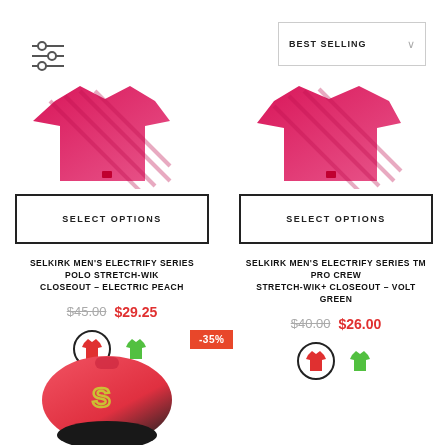[Figure (other): Filter/sort icon (three horizontal lines with circles)]
[Figure (other): Best Selling dropdown sort selector]
[Figure (photo): Selkirk men's polo shirt in electric peach/pink color]
[Figure (other): SELECT OPTIONS button for first product]
SELKIRK MEN'S ELECTRIFY SERIES POLO STRETCH-WIK CLOSEOUT – ELECTRIC PEACH
$45.00  $29.25
[Figure (other): Color swatches: red shirt (selected, with circle), green shirt]
[Figure (photo): Selkirk men's TM Pro crew shirt in volt green/pink color]
[Figure (other): SELECT OPTIONS button for second product]
SELKIRK MEN'S ELECTRIFY SERIES TM PRO CREW STRETCH-WIK+ CLOSEOUT – VOLT GREEN
$40.00  $26.00
[Figure (other): Color swatches: red shirt (selected, with circle), green shirt]
-35%
[Figure (photo): Selkirk backpack/bag in pink and black color with logo]